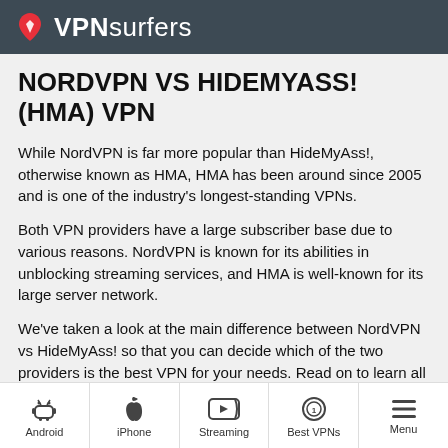VPNsurfers
NORDVPN VS HIDEMYASS! (HMA) VPN
While NordVPN is far more popular than HideMyAss!, otherwise known as HMA, HMA has been around since 2005 and is one of the industry's longest-standing VPNs.
Both VPN providers have a large subscriber base due to various reasons. NordVPN is known for its abilities in unblocking streaming services, and HMA is well-known for its large server network.
We've taken a look at the main difference between NordVPN vs HideMyAss! so that you can decide which of the two providers is the best VPN for your needs. Read on to learn all you need to know about both VPNs.
Android | iPhone | Streaming | Best VPNs | Menu